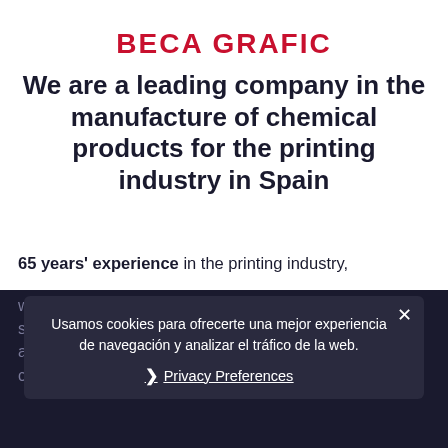BECA GRAFIC
We are a leading company in the manufacture of chemical products for the printing industry in Spain
65 years' experience in the printing industry, with products that have become synonymous with quality, fully adapted to the needs of the market and our customers.
Usamos cookies para ofrecerte una mejor experiencia de navegación y analizar el tráfico de la web.
Privacy Preferences